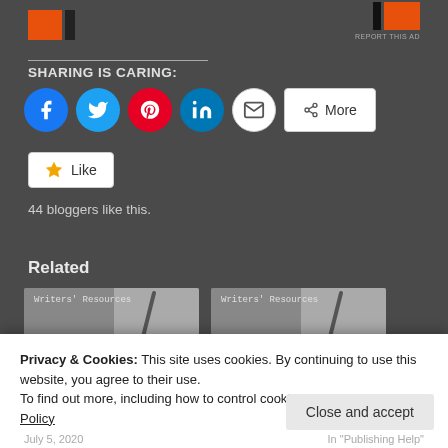[Figure (screenshot): Top banner with orange/black blocks on left and orange/black blocks on right with 'REPORT THIS AD' text]
SHARING IS CARING:
[Figure (infographic): Row of social sharing icons: Facebook (blue circle), Twitter (blue circle), Pinterest (red circle), LinkedIn (blue circle), Email (white circle), and More button]
[Figure (infographic): Like button with star icon]
44 bloggers like this.
Related
[Figure (screenshot): Two thumbnail images side by side, each showing 'Writers' Resources' label over a pen/notebook background]
Privacy & Cookies: This site uses cookies. By continuing to use this website, you agree to their use.
To find out more, including how to control cookies, see here: Cookie Policy
Close and accept
July 5, 2020    In "Publishing Help"